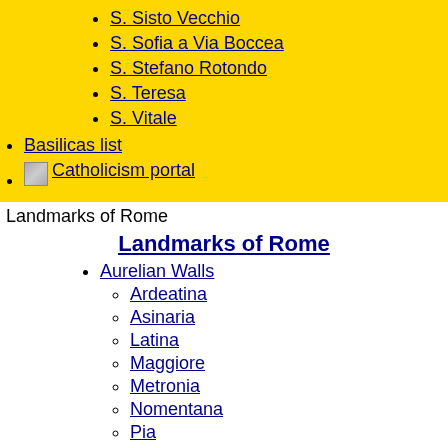S. Sisto Vecchio
S. Sofia a Via Boccea
S. Stefano Rotondo
S. Teresa
S. Vitale
Basilicas list
Catholicism portal
Landmarks of Rome
Landmarks of Rome
Aurelian Walls
Ardeatina
Asinaria
Latina
Maggiore
Metronia
Nomentana
Pia
Pinciana
Popolo
Portese
San Pancrazio
San Paolo